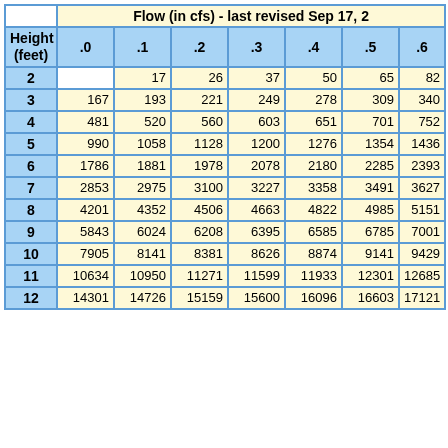| Height (feet) | .0 | .1 | .2 | .3 | .4 | .5 | .6 |
| --- | --- | --- | --- | --- | --- | --- | --- |
| 2 |  | 17 | 26 | 37 | 50 | 65 | 82 |
| 3 | 167 | 193 | 221 | 249 | 278 | 309 | 340 |
| 4 | 481 | 520 | 560 | 603 | 651 | 701 | 752 |
| 5 | 990 | 1058 | 1128 | 1200 | 1276 | 1354 | 1436 |
| 6 | 1786 | 1881 | 1978 | 2078 | 2180 | 2285 | 2393 |
| 7 | 2853 | 2975 | 3100 | 3227 | 3358 | 3491 | 3627 |
| 8 | 4201 | 4352 | 4506 | 4663 | 4822 | 4985 | 5151 |
| 9 | 5843 | 6024 | 6208 | 6395 | 6585 | 6785 | 7001 |
| 10 | 7905 | 8141 | 8381 | 8626 | 8874 | 9141 | 9429 |
| 11 | 10634 | 10950 | 11271 | 11599 | 11933 | 12301 | 12685 |
| 12 | 14301 | 14726 | 15159 | 15600 | 16096 | 16603 | 17121 |